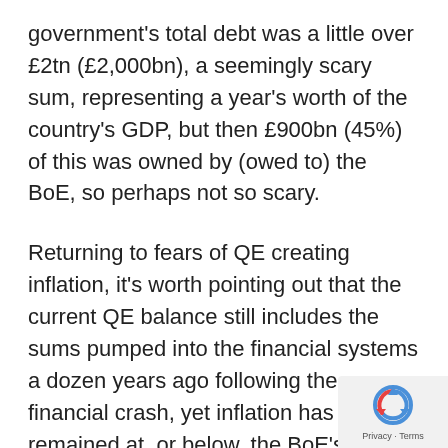government's total debt was a little over £2tn (£2,000bn), a seemingly scary sum, representing a year's worth of the country's GDP, but then £900bn (45%) of this was owned by (owed to) the BoE, so perhaps not so scary.
Returning to fears of QE creating inflation, it's worth pointing out that the current QE balance still includes the sums pumped into the financial systems a dozen years ago following the financial crash, yet inflation has remained at, or below, the BoE's 2% target. Also, as